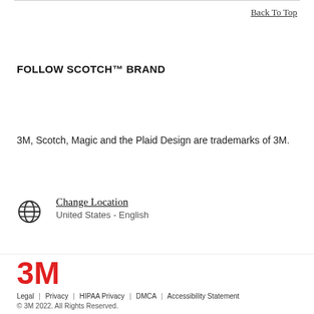Back To Top
FOLLOW SCOTCH™ BRAND
3M, Scotch, Magic and the Plaid Design are trademarks of 3M.
Change Location
United States - English
[Figure (logo): 3M red logo]
Legal | Privacy | HIPAA Privacy | DMCA | Accessibility Statement
© 3M 2022. All Rights Reserved.